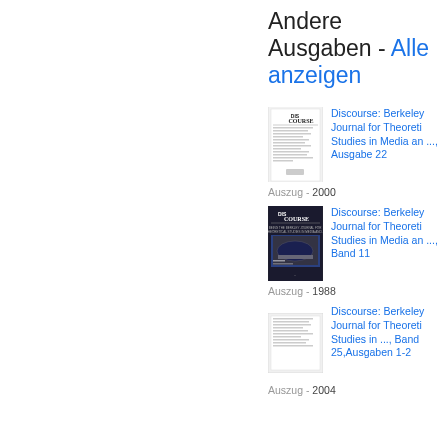Andere Ausgaben - Alle anzeigen
[Figure (illustration): Book cover thumbnail for Discourse: Berkeley Journal for Theoretical Studies in Media and..., Ausgabe 22]
Discourse: Berkeley Journal for Theoretical Studies in Media an ..., Ausgabe 22
Auszug - 2000
[Figure (illustration): Book cover thumbnail for Discourse: Berkeley Journal for Theoretical Studies in Media and..., Band 11]
Discourse: Berkeley Journal for Theoretical Studies in Media an ..., Band 11
Auszug - 1988
[Figure (illustration): Book cover thumbnail for Discourse: Berkeley Journal for Theoretical Studies in ..., Band 25, Ausgaben 1-2]
Discourse: Berkeley Journal for Theoretical Studies in ..., Band 25,Ausgaben 1-2
Auszug - 2004